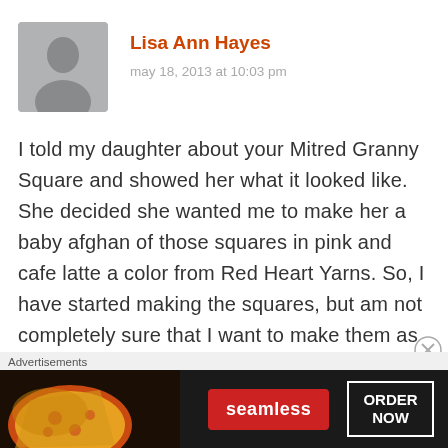Lisa Ann Hayes
may 18, 2013 at 10:03 pm
I told my daughter about your Mitred Granny Square and showed her what it looked like. She decided she wanted me to make her a baby afghan of those squares in pink and cafe latte a color from Red Heart Yarns. So, I have started making the squares, but am not completely sure that I want to make them as big as that because I am using a size J crochet hook. My daughter wants it to be bigger than the afghan I
Advertisements
[Figure (screenshot): Seamless food delivery advertisement banner showing pizza image on left, red Seamless logo button in center, and ORDER NOW button on right, on dark background]